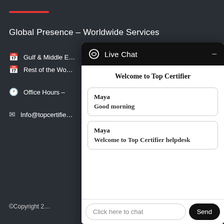Global Presence – Worldwide Services
Gulf & Middle E…
Rest of the Wo…
Office Hours –
Info@topcertifie…
©Copyright 2…
[Figure (screenshot): Live Chat overlay widget showing a chat header with bubble icon and 'Live Chat' title, a white panel with 'Welcome to Top Certifier' heading, two chat messages from Maya ('Good morning' and 'Welcome to Top Certifier helpdesk'), and a text input bar with a Send button.]